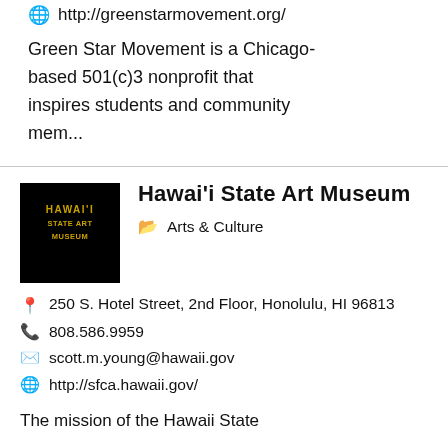http://greenstarmovement.org/
Green Star Movement is a Chicago-based 501(c)3 nonprofit that inspires students and community mem...
Hawai'i State Art Museum
Arts & Culture
250 S. Hotel Street, 2nd Floor, Honolulu, HI 96813
808.586.9959
scott.m.young@hawaii.gov
http://sfca.hawaii.gov/
The mission of the Hawaii State